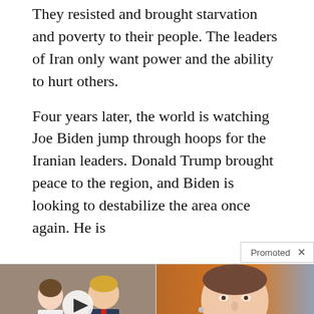They resisted and brought starvation and poverty to their people. The leaders of Iran only want power and the ability to hurt others.
Four years later, the world is watching Joe Biden jump through hoops for the Iranian leaders. Donald Trump brought peace to the region, and Biden is looking to destabilize the area once again. He is
Promoted
[Figure (photo): Photo of Melania Trump and Donald Trump with a video play button overlay — advertisement image]
Democrats Want This Video Destroyed — Watch Now Before It's Banned
🔥 242,616
[Figure (photo): Photo of Nancy Pelosi — advertisement image]
SIGN THE PETITION: 100,000 Signatures to Impeach Speaker Nancy Pelosi
🔥 61,428